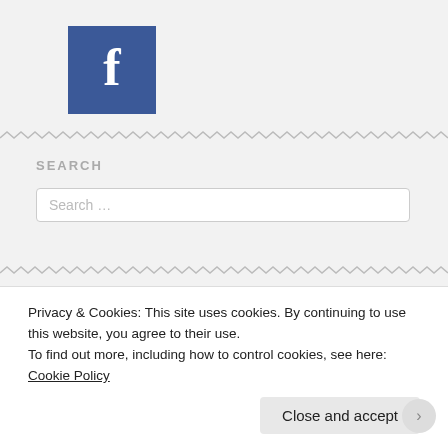[Figure (logo): Facebook logo: black square with white lowercase 'f']
SEARCH
Search …
FOLLOW BLOG VIA EMAIL
Privacy & Cookies: This site uses cookies. By continuing to use this website, you agree to their use.
To find out more, including how to control cookies, see here: Cookie Policy
Close and accept